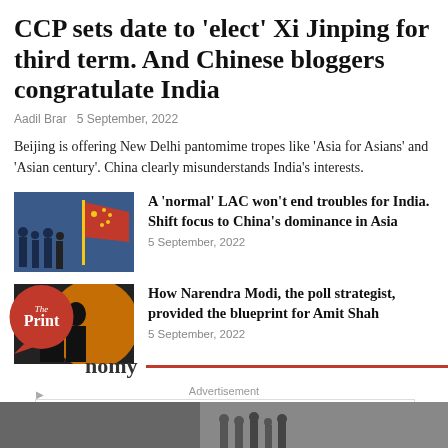CCP sets date to 'elect' Xi Jinping for third term. And Chinese bloggers congratulate India
Aadil Brar  5 September, 2022
Beijing is offering New Delhi pantomime tropes like 'Asia for Asians' and 'Asian century'. China clearly misunderstands India's interests.
[Figure (photo): Chinese military parade with red flag]
A 'normal' LAC won't end troubles for India. Shift focus to China's dominance in Asia
5 September, 2022
[Figure (photo): Narendra Modi and another person, orange background]
How Narendra Modi, the poll strategist, provided the blueprint for Amit Shah
5 September, 2022
[Figure (logo): The Print logo - orange circle with speech bubble]
nomy
Advertisement
[Figure (infographic): Wegmans advertisement - School Snacks They'll Love]